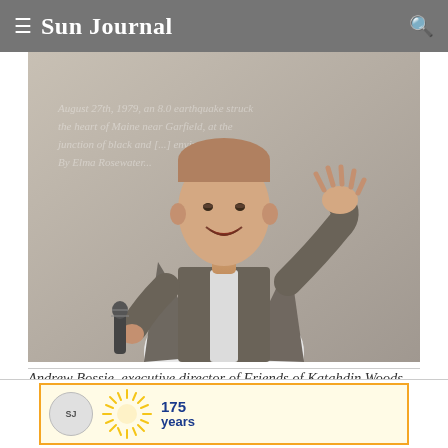≡ Sun Journal
[Figure (photo): Andrew Bossie speaking at a podium or event, holding a microphone, wearing a grey blazer and white shirt, gesturing with one hand. A projected presentation is visible in the background.]
Andrew Bossie, executive director of Friends of Katahdin Woods and Waters, addresses the Great Falls Forum at the Lewiston Public Library on Thursday. (Andree Kehn/Sun Journal)
[Figure (infographic): Sun Journal 175 years anniversary advertisement banner with sun rays logo and circular badge.]